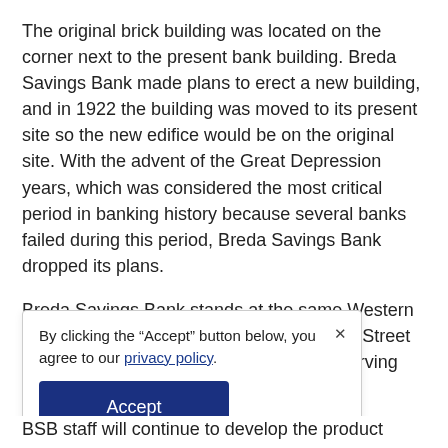The original brick building was located on the corner next to the present bank building. Breda Savings Bank made plans to erect a new building, and in 1922 the building was moved to its present site so the new edifice would be on the original site. With the advent of the Great Depression years, which was considered the most critical period in banking history because several banks failed during this period, Breda Savings Bank dropped its plans.
Breda Savings Bank stands at the same Western Iowa location as it did in 1922 at 105 Main Street in the city of Breda. We are proud to be serving the local community
By clicking the "Accept" button below, you agree to our privacy policy.
BSB staff will continue to develop the product options to